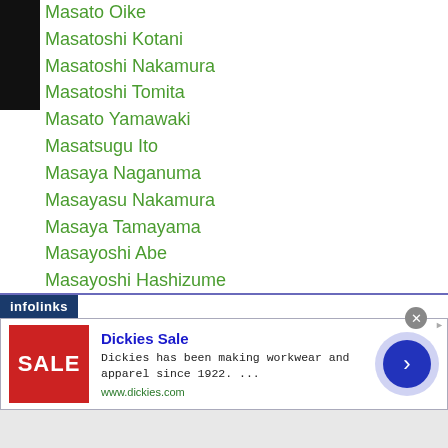Masato Oike
Masatoshi Kotani
Masatoshi Nakamura
Masatoshi Tomita
Masato Yamawaki
Masatsugu Ito
Masaya Naganuma
Masayasu Nakamura
Masaya Tamayama
Masayoshi Abe
Masayoshi Hashizume
Masayoshi Kotake
Masayoshi Kusaka
Masayoshi Nakatani
Masayuki Ichikawa
Masayuki Ito
[Figure (screenshot): Infolinks advertisement banner for Dickies Sale showing a red SALE image, ad text about Dickies workwear, and a blue arrow button]